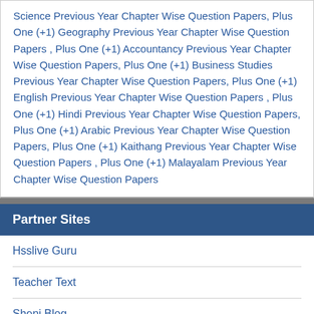Science Previous Year Chapter Wise Question Papers, Plus One (+1) Geography Previous Year Chapter Wise Question Papers , Plus One (+1) Accountancy Previous Year Chapter Wise Question Papers, Plus One (+1) Business Studies Previous Year Chapter Wise Question Papers, Plus One (+1) English Previous Year Chapter Wise Question Papers , Plus One (+1) Hindi Previous Year Chapter Wise Question Papers, Plus One (+1) Arabic Previous Year Chapter Wise Question Papers, Plus One (+1) Kaithang Previous Year Chapter Wise Question Papers , Plus One (+1) Malayalam Previous Year Chapter Wise Question Papers
Partner Sites
Hsslive Guru
Teacher Text
Sheni Blog
Spandanam Blog
Globaldias
LMSTULL
Online Teer Result